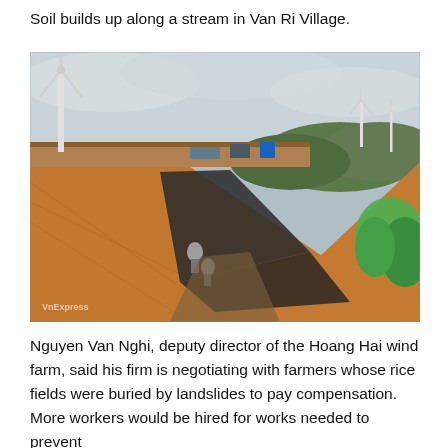Soil builds up along a stream in Van Ri Village.
[Figure (photo): Aerial view of a large soil landslide/embankment with steep orange-brown slopes next to a stream. Workers are visible on the dark erosion control fabric laid on the slope. Wind turbines and green hills are visible in the background under a cloudy sky. A watermark reads VnExpress in the lower left corner.]
Nguyen Van Nghi, deputy director of the Hoang Hai wind farm, said his firm is negotiating with farmers whose rice fields were buried by landslides to pay compensation. More workers would be hired for works needed to prevent